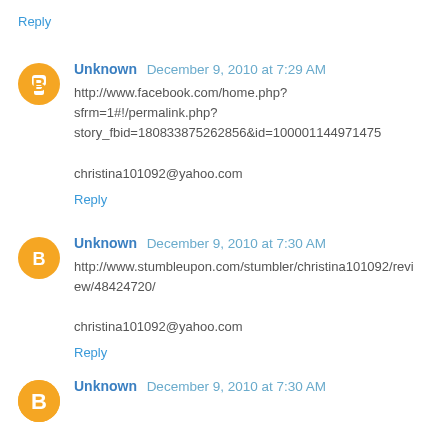Reply
Unknown  December 9, 2010 at 7:29 AM
http://www.facebook.com/home.php?sfrm=1#!/permalink.php?story_fbid=180833875262856&id=100001144971475

christina101092@yahoo.com
Reply
Unknown  December 9, 2010 at 7:30 AM
http://www.stumbleupon.com/stumbler/christina101092/review/48424720/

christina101092@yahoo.com
Reply
Unknown  December 9, 2010 at 7:30 AM